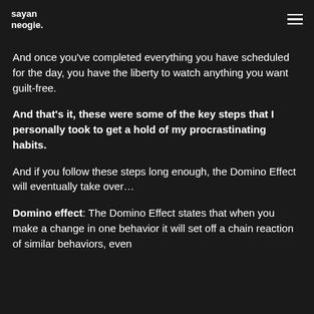sayan neogie.
And once you've completed everything you have scheduled for the day, you have the liberty to watch anything you want guilt-free.
And that's it, these were some of the key steps that I personally took to get a hold of my procrastinating habits.
And if you follow these steps long enough, the Domino Effect will eventually take over…
Domino effect: The Domino Effect states that when you make a change in one behavior it will set off a chain reaction of similar behaviors, even